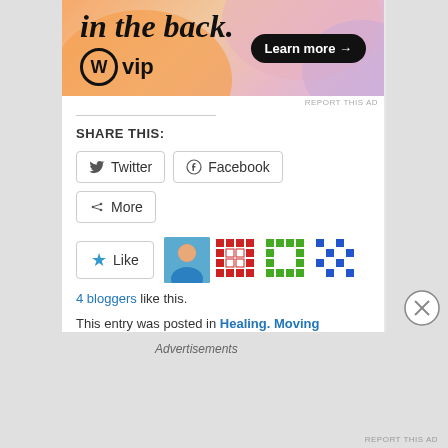[Figure (illustration): WordPress VIP advertisement banner with orange/pink gradient background, bold italic text 'in the back.', WordPress VIP logo, and 'Learn more →' button]
REPORT THIS AD
SHARE THIS:
Twitter  Facebook  More
[Figure (illustration): Like button with star icon and 4 blogger avatar thumbnails]
4 bloggers like this.
This entry was posted in Healing. Moving Forward. Freedom. Courage, Health Wellness Detox, Life, Uncategorized and tagged The Beauty of time by ambatopia. Bookmark the permalink.
6 THOUGHTS ON "TIME AWAITS NO ONE."
Advertisements